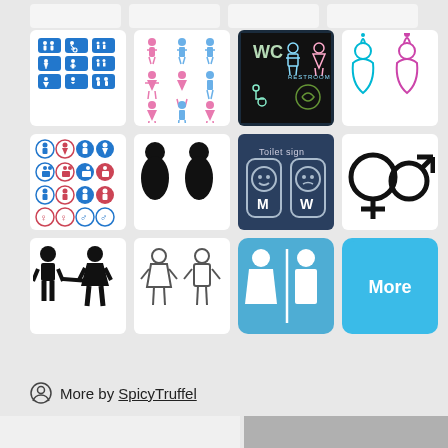[Figure (illustration): Grid of restroom/toilet sign icons in various styles including blue pictogram sets, neon WC signs, gender symbols, silhouette figures, and a More button]
More by SpicyTruffel